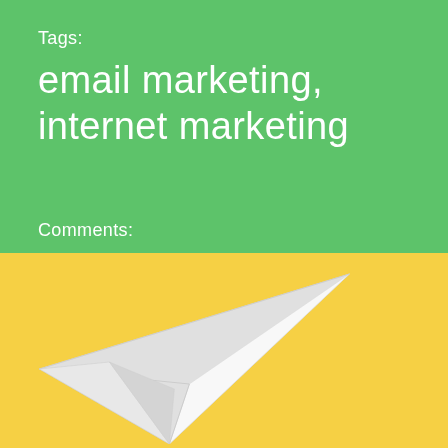Tags:
email marketing, internet marketing
Comments:
[Figure (illustration): Paper airplane (white origami plane) on a two-tone background of green (top) and yellow (bottom).]